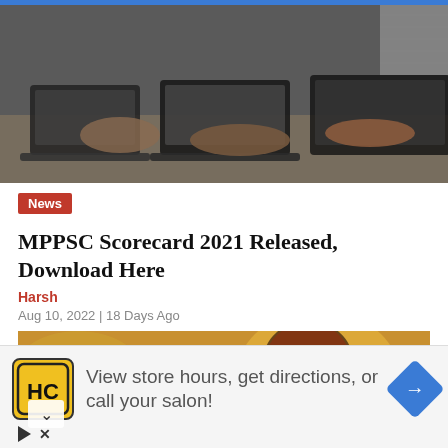[Figure (photo): Photo of multiple people typing on laptops at a table, viewed from the side]
News
MPPSC Scorecard 2021 Released, Download Here
Harsh
Aug 10, 2022 | 18 Days Ago
[Figure (photo): Blurred photo of a person with orange/warm toned background]
View store hours, get directions, or call your salon!